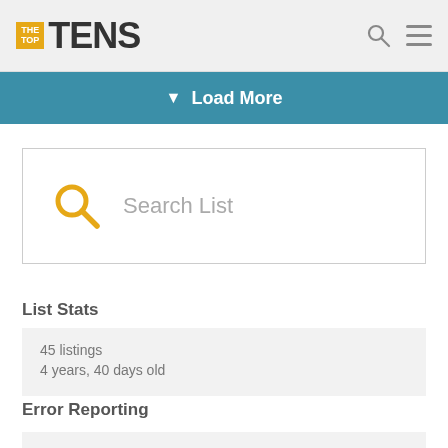THE TOP TENS
Load More
[Figure (screenshot): Search List input box with orange search icon on the left and placeholder text 'Search List']
List Stats
45 listings
4 years, 40 days old
Error Reporting